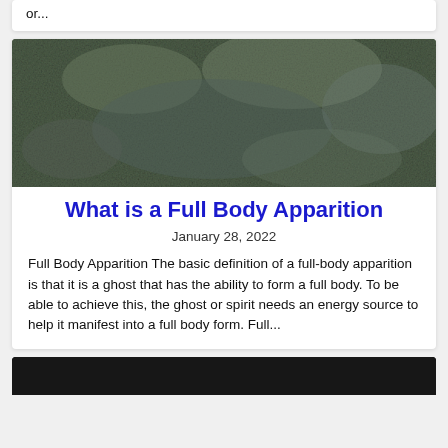or...
[Figure (photo): Dark grayish-green textured background, possibly smoke or fog photo for ghost/apparition article]
What is a Full Body Apparition
January 28, 2022
Full Body Apparition The basic definition of a full-body apparition is that it is a ghost that has the ability to form a full body. To be able to achieve this, the ghost or spirit needs an energy source to help it manifest into a full body form. Full...
[Figure (photo): Dark photo partially visible at the bottom of the page, article thumbnail]